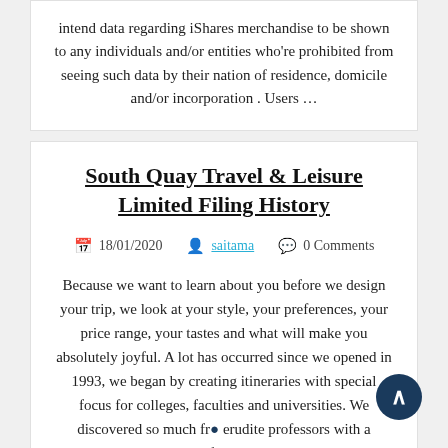intend data regarding iShares merchandise to be shown to any individuals and/or entities who're prohibited from seeing such data by their nation of residence, domicile and/or incorporation . Users …
South Quay Travel & Leisure Limited Filing History
18/01/2020   saitama   0 Comments
Because we want to learn about you before we design your trip, we look at your style, your preferences, your price range, your tastes and what will make you absolutely joyful. A lot has occurred since we opened in 1993, we began by creating itineraries with special focus for colleges, faculties and universities. We discovered so much fr… erudite professors with a passion for European